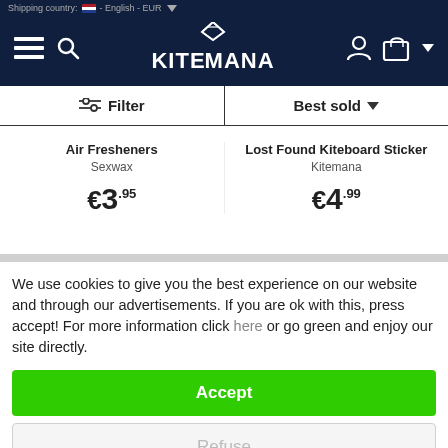Shipping country: NL - English - EUR
[Figure (logo): Kitemana logo with diamond icon and navigation icons (hamburger menu, search, user, cart) on dark navy background]
Filter | Best sold
Air Fresheners
Sexwax
€3.95
Lost Found Kiteboard Sticker
Kitemana
€4.99
We use cookies to give you the best experience on our website and through our advertisements. If you are ok with this, press accept! For more information click here or go green and enjoy our site directly.
Accept
Refuse